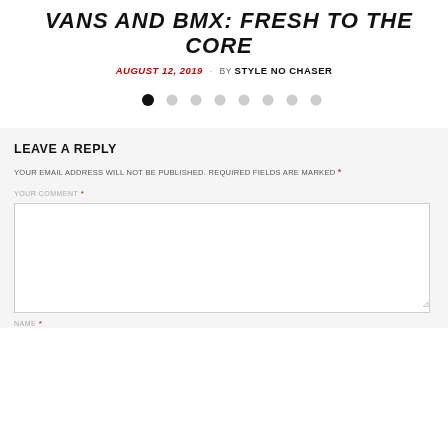VANS AND BMX: FRESH TO THE CORE
AUGUST 12, 2019 · BY STYLE NO CHASER
[Figure (other): Dot navigation carousel indicator with 8 dots, first dot filled black, rest light grey]
LEAVE A REPLY
YOUR EMAIL ADDRESS WILL NOT BE PUBLISHED. REQUIRED FIELDS ARE MARKED *
YOUR COMMENT *
NAME *